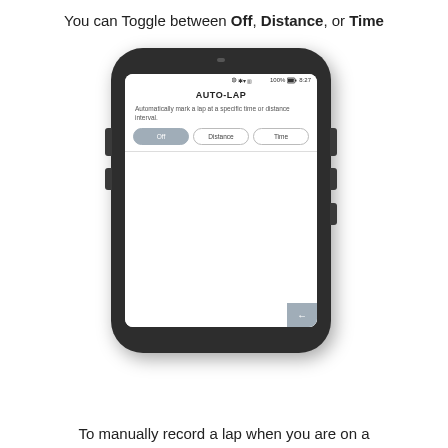You can Toggle between Off, Distance, or Time
[Figure (screenshot): A handheld GPS device displaying the AUTO-LAP screen. The screen shows the title AUTO-LAP, a description reading Automatically mark a lap at a specific time or distance interval., and three toggle buttons: Off (selected/highlighted in blue-grey), Distance, and Time. A grey back arrow button appears in the bottom-right corner of the screen.]
To manually record a lap when you are on a